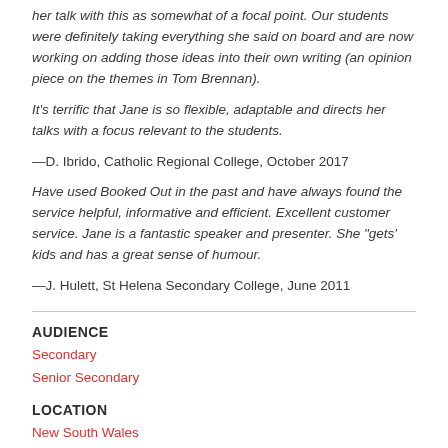her talk with this as somewhat of a focal point. Our students were definitely taking everything she said on board and are now working on adding those ideas into their own writing (an opinion piece on the themes in Tom Brennan).
It’s terrific that Jane is so flexible, adaptable and directs her talks with a focus relevant to the students.
—D. Ibrido, Catholic Regional College, October 2017
Have used Booked Out in the past and have always found the service helpful, informative and efficient. Excellent customer service. Jane is a fantastic speaker and presenter. She “gets’ kids and has a great sense of humour.
—J. Hulett, St Helena Secondary College, June 2011
AUDIENCE
Secondary
Senior Secondary
LOCATION
New South Wales
SESSIONS